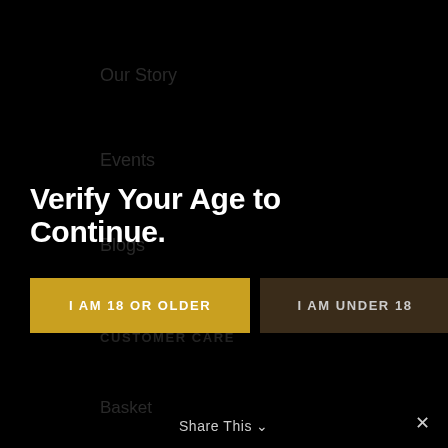Our Story
Events
Blogs
CUSTOMER CARE
Basket
FAQs
UK Apple Collectors Directory
CONTACT
Verify Your Age to Continue.
I AM 18 OR OLDER
I AM UNDER 18
Share This ∨
×